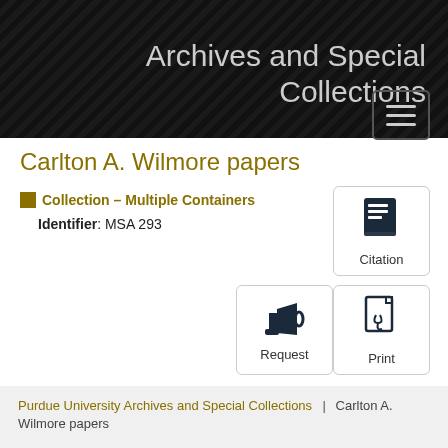Archives and Special Collections
Carlton A. Wilmore papers
Collection – Multiple Containers
Identifier: MSA 293
[Figure (screenshot): Citation button with book icon]
[Figure (screenshot): Request button with megaphone icon]
[Figure (screenshot): Print button with PDF icon]
Purdue University Archives and Special Collections | Carlton A. Wilmore papers